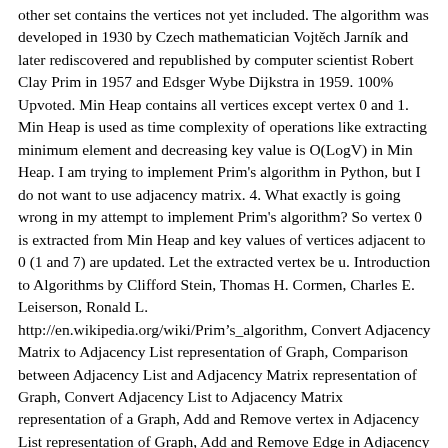other set contains the vertices not yet included. The algorithm was developed in 1930 by Czech mathematician Vojtěch Jarník and later rediscovered and republished by computer scientist Robert Clay Prim in 1957 and Edsger Wybe Dijkstra in 1959. 100% Upvoted. Min Heap contains all vertices except vertex 0 and 1. Min Heap is used as time complexity of operations like extracting minimum element and decreasing key value is O(LogV) in Min Heap. I am trying to implement Prim's algorithm in Python, but I do not want to use adjacency matrix. 4. What exactly is going wrong in my attempt to implement Prim's algorithm? So vertex 0 is extracted from Min Heap and key values of vertices adjacent to 0 (1 and 7) are updated. Let the extracted vertex be u. Introduction to Algorithms by Clifford Stein, Thomas H. Cormen, Charles E. Leiserson, Ronald L.
http://en.wikipedia.org/wiki/Prim's_algorithm, Convert Adjacency Matrix to Adjacency List representation of Graph, Comparison between Adjacency List and Adjacency Matrix representation of Graph, Convert Adjacency List to Adjacency Matrix representation of a Graph, Add and Remove vertex in Adjacency List representation of Graph, Add and Remove Edge in Adjacency List representation of a Graph, Prim's Algorithm (Simple Implementation for Adjacency Matrix Representation), Add and Remove vertex in Adjacency Matrix representation of Graph, Add and Remove Edge in Adjacency Matrix representation of a Graph, Travelling Salesman Problem | Set 2 (Approximate using MST)